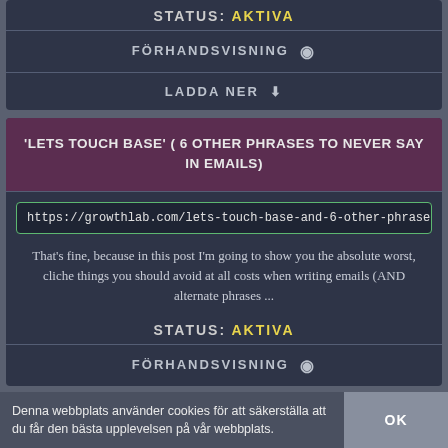STATUS: AKTIVA
FÖRHANDSVISNING 👁
LADDA NER ⬇
'LETS TOUCH BASE' ( 6 OTHER PHRASES TO NEVER SAY IN EMAILS)
https://growthlab.com/lets-touch-base-and-6-other-phrases-we-need-to-
That's fine, because in this post I'm going to show you the absolute worst, cliche things you should avoid at all costs when writing emails (AND alternate phrases ...
STATUS: AKTIVA
FÖRHANDSVISNING 👁
Denna webbplats använder cookies för att säkerställa att du får den bästa upplevelsen på vår webbplats.